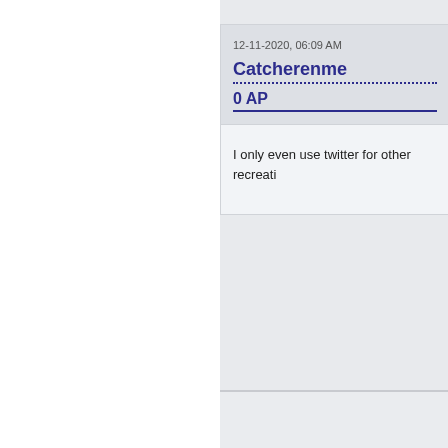12-11-2020, 06:09 AM
Catcherenme
0 AP
I only even use twitter for other recreati